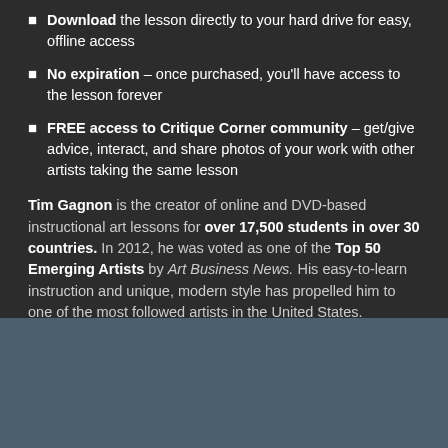Download the lesson directly to your hard drive for easy, offline access
No expiration – once purchased, you'll have access to the lesson forever
FREE access to Critique Corner community – get/give advice, interact, and share photos of your work with other artists taking the same lesson
Tim Gagnon is the creator of online and DVD-based instructional art lessons for over 17,500 students in over 30 countries. In 2012, he was voted as one of the Top 50 Emerging Artists by Art Business News. His easy-to-learn instruction and unique, modern style has propelled him to one of the most followed artists in the United States.
[Figure (photo): Bottom section with blue-gray background, partially visible image at bottom left corner]